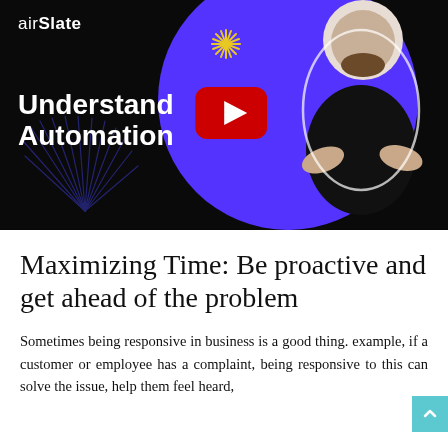[Figure (screenshot): airSlate video thumbnail showing a bearded man in black shirt with arms crossed, purple circle background, yellow star decoration, burst line decoration, text 'Understand Automation', and YouTube play button overlay]
Maximizing Time: Be proactive and get ahead of the problem
Sometimes being responsive in business is a good thing. example, if a customer or employee has a complaint, being responsive to this can solve the issue, help them feel heard,